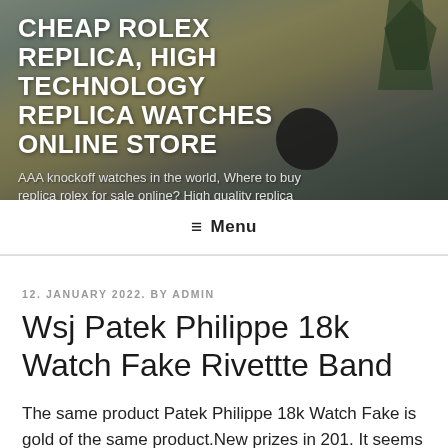[Figure (photo): Header banner with blurred background showing a wooden table, dark round object, and plant pots, overlaid with site title and tagline text]
CHEAP ROLEX REPLICA, HIGH TECHNOLOGY REPLICA WATCHES ONLINE STORE
AAA knockoff watches in the world, Where to buy replica rolex for sale online? High quality replica watches under $39
≡ Menu
12. JANUARY 2022. BY ADMIN
Wsj Patek Philippe 18k Watch Fake Rivettte Band
The same product Patek Philippe 18k Watch Fake is gold of the same product.New prizes in 201. It seems that the